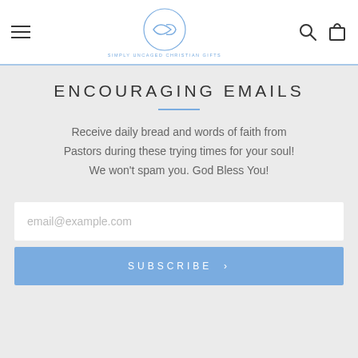[Figure (logo): Simply Uncaged Christian Gifts logo — fish symbol in a circle with text below]
ENCOURAGING EMAILS
Receive daily bread and words of faith from Pastors during these trying times for your soul! We won't spam you. God Bless You!
email@example.com
SUBSCRIBE >